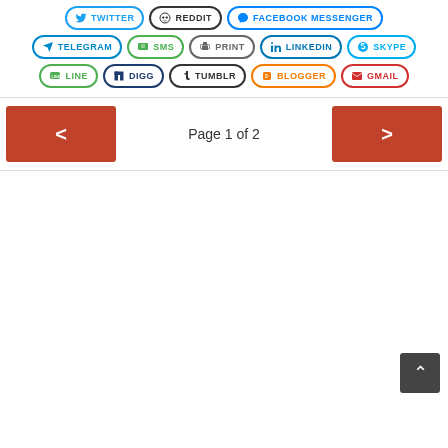[Figure (screenshot): Social media sharing buttons: Twitter, Reddit, Facebook Messenger, Telegram, SMS, Print, LinkedIn, Skype, LINE, Digg, Tumblr, Blogger, Gmail]
Page 1 of 2
[Figure (screenshot): Empty white content area with back-to-top button in bottom right corner]